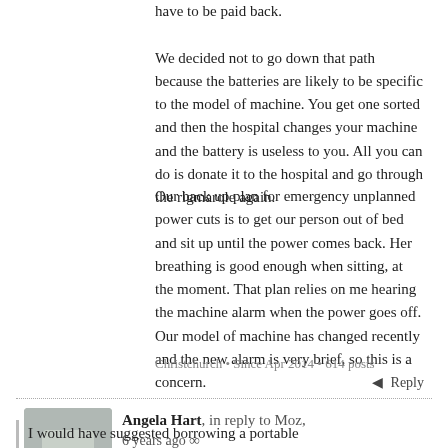We decided not to go down that path because the batteries are likely to be specific to the model of machine. You get one sorted and then the hospital changes your machine and the battery is useless to you. All you can do is donate it to the hospital and go through the rigmarole again.
Our back up plan for emergency unplanned power cuts is to get our person out of bed and sit up until the power comes back. Her breathing is good enough when sitting, at the moment. That plan relies on me hearing the machine alarm when the power goes off. Our model of machine has changed recently and the new alarm is very brief, so this is a concern.
Christchurch • Since Apr 2014 • 614 posts
Reply
Angela Hart, in reply to Moz,
6 years ago
I would have suggested borrowing a portable